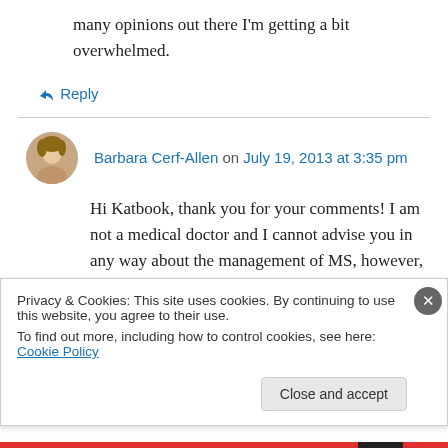many opinions out there I'm getting a bit overwhelmed.
↳ Reply
Barbara Cerf-Allen on July 19, 2013 at 3:35 pm
Hi Katbook, thank you for your comments! I am not a medical doctor and I cannot advise you in any way about the management of MS, however, your question about how diets and especially the
Privacy & Cookies: This site uses cookies. By continuing to use this website, you agree to their use.
To find out more, including how to control cookies, see here: Cookie Policy
Close and accept